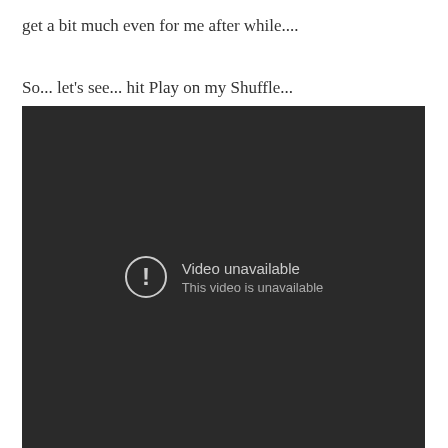get a bit much even for me after while....
So... let’s see... hit Play on my Shuffle...
[Figure (screenshot): A dark video player showing 'Video unavailable' with the message 'This video is unavailable' and a circle exclamation icon.]